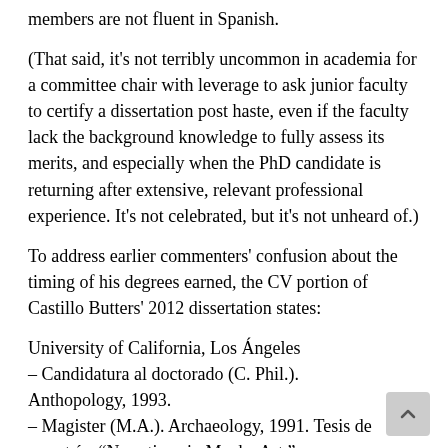members are not fluent in Spanish.
(That said, it's not terribly uncommon in academia for a committee chair with leverage to ask junior faculty to certify a dissertation post haste, even if the faculty lack the background knowledge to fully assess its merits, and especially when the PhD candidate is returning after extensive, relevant professional experience. It's not celebrated, but it's not unheard of.)
To address earlier commenters' confusion about the timing of his degrees earned, the CV portion of Castillo Butters' 2012 dissertation states:
University of California, Los Ángeles
– Candidatura al doctorado (C. Phil.). Anthopology, 1993.
– Magister (M.A.). Archaeology, 1991. Tesis de maestría: “Narrations in Moche Art.”
(This thesis is likely not available online. The